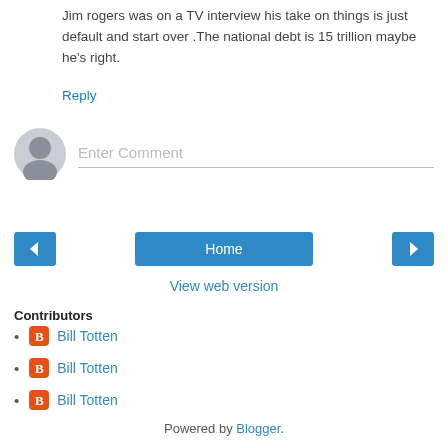Jim rogers was on a TV interview his take on things is just default and start over .The national debt is 15 trillion maybe he's right.
Reply
[Figure (illustration): User avatar: circular grey silhouette icon for anonymous user]
Enter Comment
[Figure (screenshot): Navigation bar with left arrow button, Home button, and right arrow button]
View web version
Contributors
Bill Totten
Bill Totten
Bill Totten
Powered by Blogger.